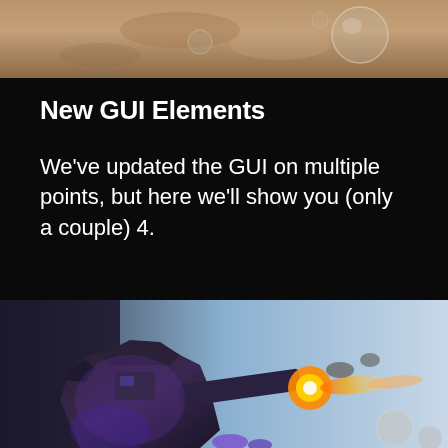[Figure (photo): Top portion of a sandy/desert surface with a glass sphere or bubble object visible]
New GUI Elements
We've updated the GUI on multiple points, but here we'll show you (only a couple) 4.
[Figure (photo): A large mechanical robot or mech suit in purple/dark tones firing a weapon with flames and explosion effects against a light sky background]